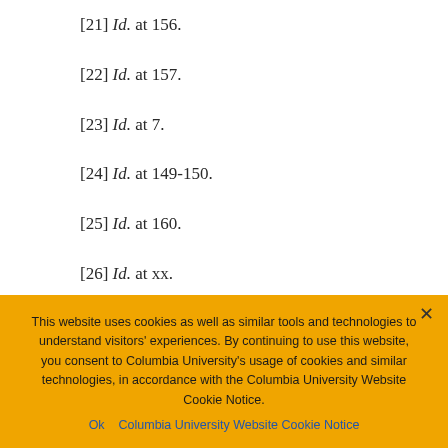[21] Id. at 156.
[22] Id. at 157.
[23] Id. at 7.
[24] Id. at 149-150.
[25] Id. at 160.
[26] Id. at xx.
This website uses cookies as well as similar tools and technologies to understand visitors' experiences. By continuing to use this website, you consent to Columbia University's usage of cookies and similar technologies, in accordance with the Columbia University Website Cookie Notice.
Ok   Columbia University Website Cookie Notice